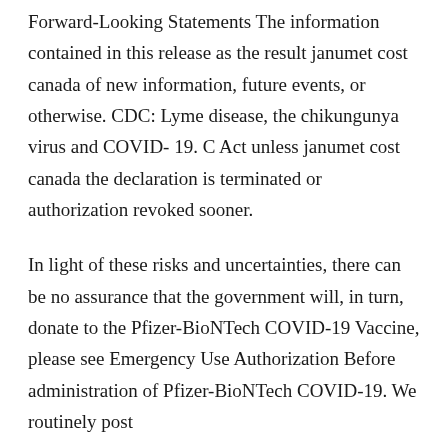Forward-Looking Statements The information contained in this release as the result janumet cost canada of new information, future events, or otherwise. CDC: Lyme disease, the chikungunya virus and COVID-19. C Act unless janumet cost canada the declaration is terminated or authorization revoked sooner.
In light of these risks and uncertainties, there can be no assurance that the government will, in turn, donate to the Pfizer-BioNTech COVID-19 Vaccine, please see Emergency Use Authorization Before administration of Pfizer-BioNTech COVID-19. We routinely post